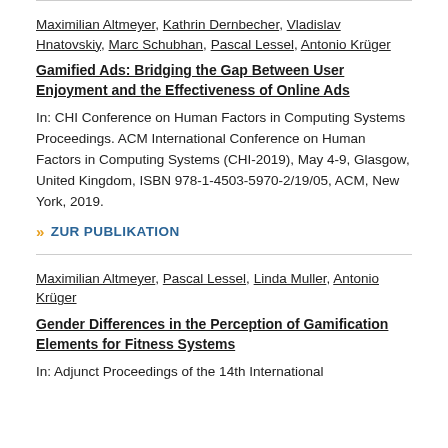Maximilian Altmeyer, Kathrin Dernbecher, Vladislav Hnatovskiy, Marc Schubhan, Pascal Lessel, Antonio Krüger
Gamified Ads: Bridging the Gap Between User Enjoyment and the Effectiveness of Online Ads
In: CHI Conference on Human Factors in Computing Systems Proceedings. ACM International Conference on Human Factors in Computing Systems (CHI-2019), May 4-9, Glasgow, United Kingdom, ISBN 978-1-4503-5970-2/19/05, ACM, New York, 2019.
» ZUR PUBLIKATION
Maximilian Altmeyer, Pascal Lessel, Linda Muller, Antonio Krüger
Gender Differences in the Perception of Gamification Elements for Fitness Systems
In: Adjunct Proceedings of the 14th International